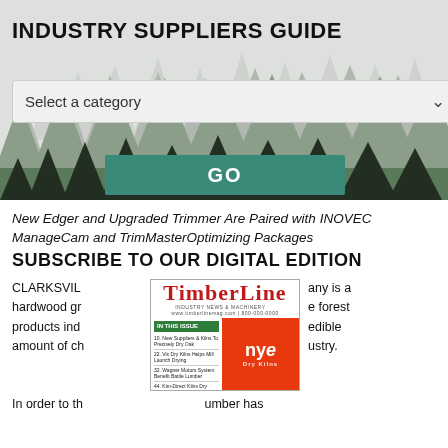INDUSTRY SUPPLIERS GUIDE
[Figure (illustration): Forest silhouette banner with pine trees in light gray tones, used as background for the Industry Suppliers Guide header section]
Select a category
GO
New Edger and Upgraded Trimmer Are Paired with INOVEC ManageCam and TrimMasterOptimizing Packages
SUBSCRIBE TO OUR DIGITAL EDITION
CLARKSVIL any is a hardwood gr e forest products ind edible amount of ch ustry.
[Figure (illustration): TimberLine magazine cover showing the logo in red with forest silhouette, and below it an 'In This Issue' panel with a Nyle Dry Kilns advertisement]
In order to th umber has